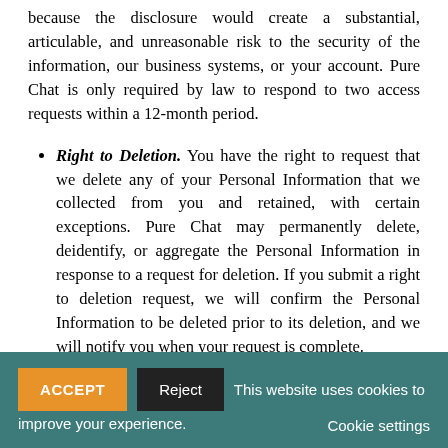because the disclosure would create a substantial, articulable, and unreasonable risk to the security of the information, our business systems, or your account. Pure Chat is only required by law to respond to two access requests within a 12-month period.
Right to Deletion. You have the right to request that we delete any of your Personal Information that we collected from you and retained, with certain exceptions. Pure Chat may permanently delete, deidentify, or aggregate the Personal Information in response to a request for deletion. If you submit a right to deletion request, we will confirm the Personal Information to be deleted prior to its deletion, and we will notify you when your request is complete.
Right to Nondiscrimination. We will not discriminate against
This website uses cookies to improve your experience. Cookie settings